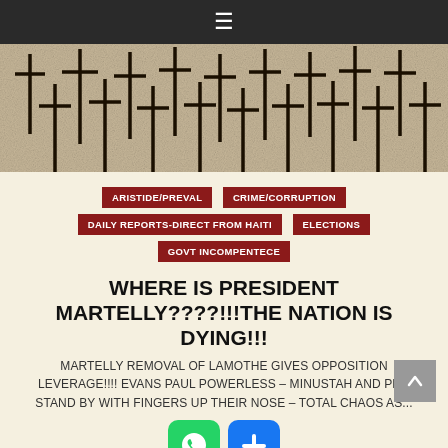☰
[Figure (photo): Field of dark wooden crosses against a sandy/beige background, reminiscent of a military cemetery or memorial.]
ARISTIDE/PREVAL   CRIME/CORRUPTION   DAILY REPORTS-DIRECT FROM HAITI   ELECTIONS   GOVT INCOMPENTECE
WHERE IS PRESIDENT MARTELLY????!!!THE NATION IS DYING!!!
MARTELLY REMOVAL OF LAMOTHE GIVES OPPOSITION LEVERAGE!!!! EVANS PAUL POWERLESS – MINUSTAH AND PNH STAND BY WITH FINGERS UP THEIR NOSE – TOTAL CHAOS AS...
2015-02-02